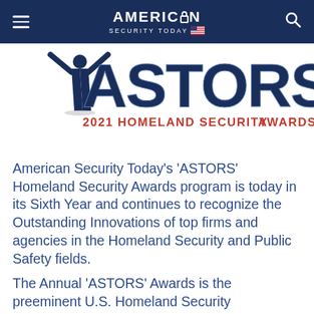AMERICAN SECURITY TODAY
[Figure (logo): ASTORS 2021 Homeland Security Awards logo with large bold navy blue ASTORS text and figure with raised arms, and red text reading '2021 HOMELAND SECURITY AWARDS']
American Security Today’s ‘ASTORS’ Homeland Security Awards program is today in its Sixth Year and continues to recognize the Outstanding Innovations of top firms and agencies in the Homeland Security and Public Safety fields.
The Annual ‘ASTORS’ Awards is the preeminent U.S. Homeland Security